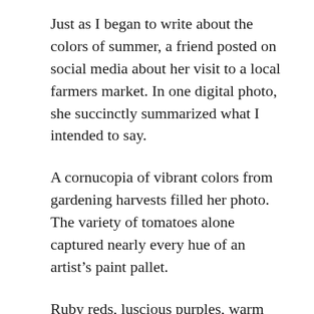Just as I began to write about the colors of summer, a friend posted on social media about her visit to a local farmers market. In one digital photo, she succinctly summarized what I intended to say.
A cornucopia of vibrant colors from gardening harvests filled her photo. The variety of tomatoes alone captured nearly every hue of an artist’s paint pallet.
Ruby reds, luscious purples, warm yellows, and lime greens took center stage of their kitchen table. The light yellow of summer squash and the ribbed texture of a muskmelon represented the earthen tones.